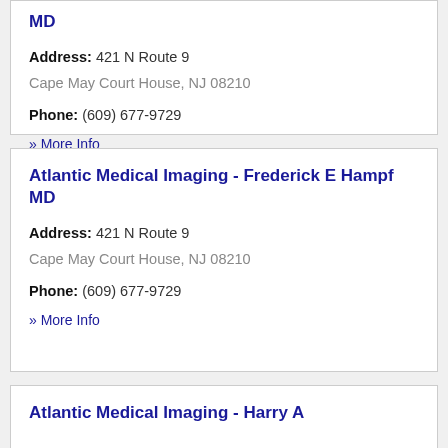MD
Address: 421 N Route 9
Cape May Court House, NJ 08210
Phone: (609) 677-9729
» More Info
Atlantic Medical Imaging - Frederick E Hampf MD
Address: 421 N Route 9
Cape May Court House, NJ 08210
Phone: (609) 677-9729
» More Info
Atlantic Medical Imaging - Harry A